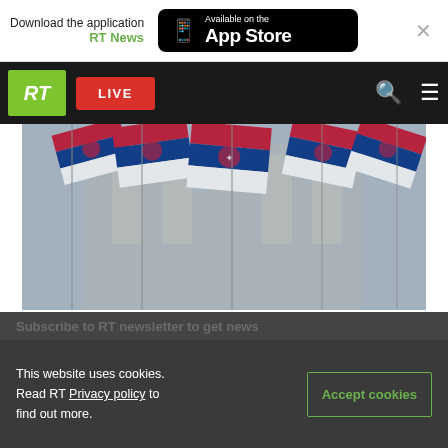Download the application RT News — Available on the App Store
RT LIVE
[Figure (photo): Multiple Serbian flags waving in front of a large building, crowd scene]
Secret documents expose London’s plans to infiltrate the Balkans… while undermining Russia
Subscribe to RT newsletter to get news
This website uses cookies. Read RT Privacy policy to find out more.
Accept cookies